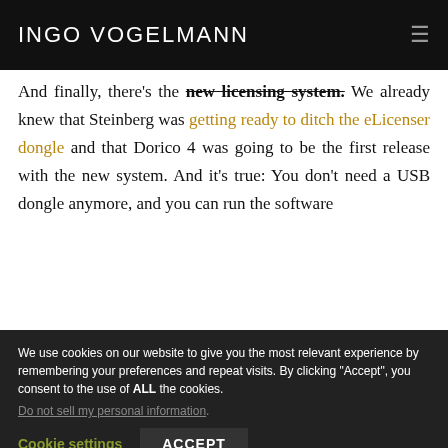INGO VOGELMANN
And finally, there's the new licensing system. We already knew that Steinberg was getting ready to ditch the eLicenser dongle and that Dorico 4 was going to be the first release with the new system. And it's true: You don't need a USB dongle anymore, and you can run the software
We use cookies on our website to give you the most relevant experience by remembering your preferences and repeat visits. By clicking "Accept", you consent to the use of ALL the cookies.
Do not sell my personal information.
Cookie settings   ACCEPT